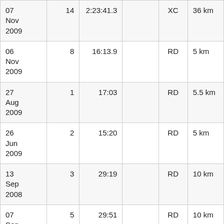| Date | Place | Time | — | Type | Distance |
| --- | --- | --- | --- | --- | --- |
| 07 Nov 2009 | 14 | 2:23:41.3 |  | XC | 36 km |
| 06 Nov 2009 | 8 | 16:13.9 |  | RD | 5 km |
| 27 Aug 2009 | 1 | 17:03 |  | RD | 5.5 km |
| 26 Jun 2009 | 2 | 15:20 |  | RD | 5 km |
| 13 Sep 2008 | 3 | 29:19 |  | RD | 10 km |
| 07 Sep ... | 5 | 29:51 |  | RD | 10 km |